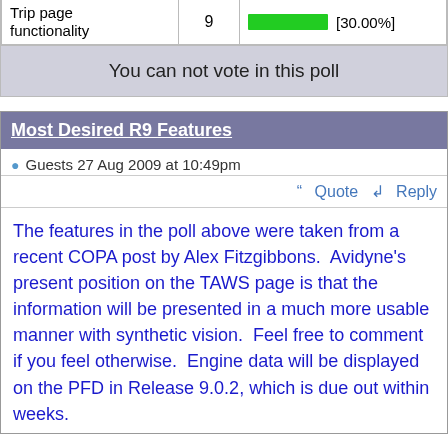| Option | Votes | Result |
| --- | --- | --- |
| Trip page functionality | 9 | [30.00%] |
You can not vote in this poll
Most Desired R9 Features
Guests 27 Aug 2009 at 10:49pm
Quote  Reply
The features in the poll above were taken from a recent COPA post by Alex Fitzgibbons.  Avidyne's present position on the TAWS page is that the information will be presented in a much more usable manner with synthetic vision.  Feel free to comment if you feel otherwise.  Engine data will be displayed on the PFD in Release 9.0.2, which is due out within weeks.